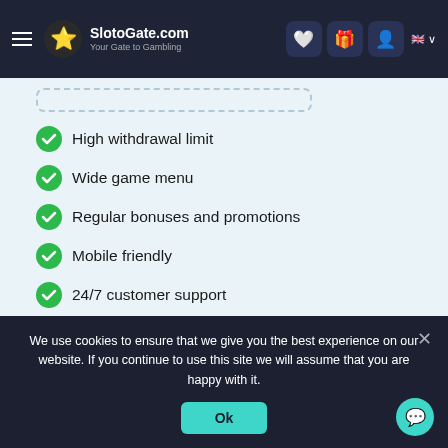SlotoGate.com — Your Gate to Gambling
High withdrawal limit
Wide game menu
Regular bonuses and promotions
Mobile friendly
24/7 customer support
Neosurf | Visa | Bitcoin | Ethereum | Bank Wire Transfer | MasterCard
We use cookies to ensure that we give you the best experience on our website. If you continue to use this site we will assume that you are happy with it.